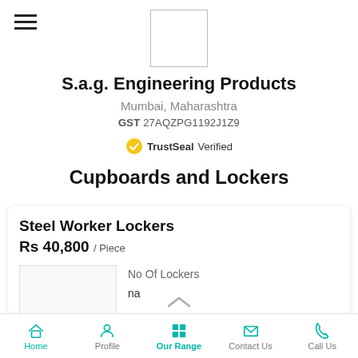[Figure (logo): Company logo placeholder box]
S.a.g. Engineering Products
Mumbai, Maharashtra
GST 27AQZPG1192J1Z9
TrustSeal Verified
Cupboards and Lockers
Steel Worker Lockers
Rs 40,800 / Piece
No Of Lockers
na
Home  Profile  Our Range  Contact Us  Call Us